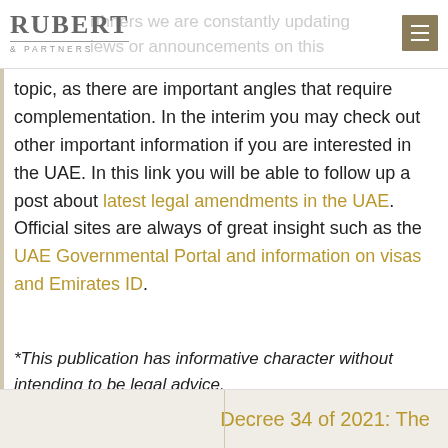RUBERT & PARTNERS
topic, as there are important angles that require complementation. In the interim you may check out other important information if you are interested in the UAE. In this link you will be able to follow up a post about latest legal amendments in the UAE. Official sites are always of great insight such as the UAE Governmental Portal and information on visas and Emirates ID.
*This publication has informative character without intending to be legal advice.
[Figure (other): Social sharing icons: WhatsApp, Facebook, Twitter, Email, LinkedIn]
Decree 34 of 2021: The